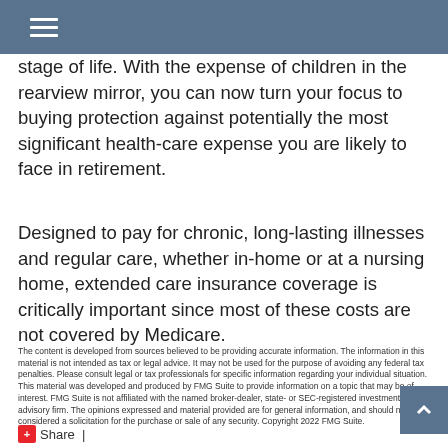stage of life. With the expense of children in the rearview mirror, you can now turn your focus to buying protection against potentially the most significant health-care expense you are likely to face in retirement.
Designed to pay for chronic, long-lasting illnesses and regular care, whether in-home or at a nursing home, extended care insurance coverage is critically important since most of these costs are not covered by Medicare.
The content is developed from sources believed to be providing accurate information. The information in this material is not intended as tax or legal advice. It may not be used for the purpose of avoiding any federal tax penalties. Please consult legal or tax professionals for specific information regarding your individual situation. This material was developed and produced by FMG Suite to provide information on a topic that may be of interest. FMG Suite is not affiliated with the named broker-dealer, state- or SEC-registered investment advisory firm. The opinions expressed and material provided are for general information, and should not be considered a solicitation for the purchase or sale of any security. Copyright 2022 FMG Suite.
Share |